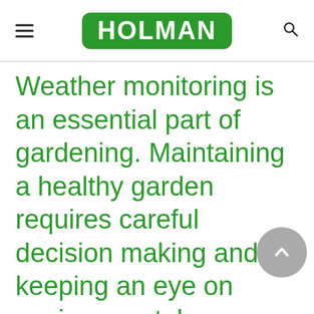HOLMAN
Weather monitoring is an essential part of gardening. Maintaining a healthy garden requires careful decision making and keeping an eye on environmental conditions that directly affect the wellbeing of your plants.